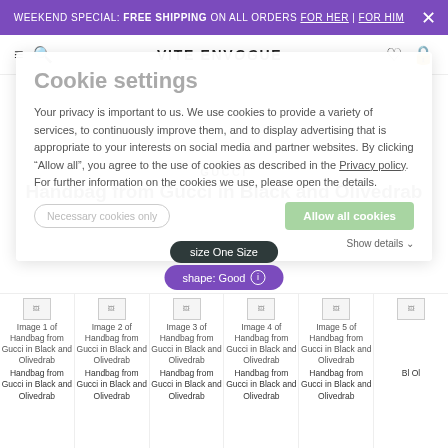WEEKEND SPECIAL: FREE SHIPPING ON ALL ORDERS FOR HER | FOR HIM
VITE ENVOGUE
Cookie settings
Your privacy is important to us. We use cookies to provide a variety of services, to continuously improve them, and to display advertising that is appropriate to your interests on social media and partner websites. By clicking "Allow all", you agree to the use of cookies as described in the Privacy policy. For further information on the cookies we use, please open the details.
GUCCI
Handbag from Gucci in Black and Olivedrab
size One Size
shape: Good
Image 1 of Handbag from Gucci in Black and Olivedrab
Image 2 of Handbag from Gucci in Black and Olivedrab
Image 3 of Handbag from Gucci in Black and Olivedrab
Image 4 of Handbag from Gucci in Black and Olivedrab
Image 5 of Handbag from Gucci in Black and Olivedrab
Handbag from Gucci in Black and Olivedrab (repeated x6)